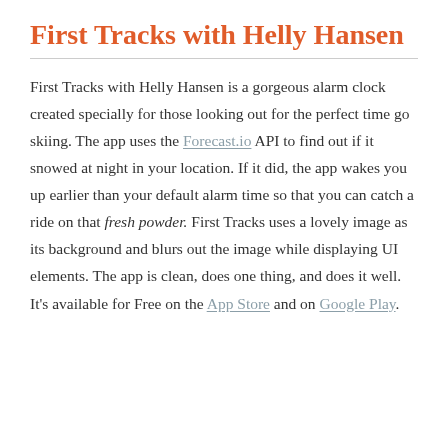First Tracks with Helly Hansen
First Tracks with Helly Hansen is a gorgeous alarm clock created specially for those looking out for the perfect time go skiing. The app uses the Forecast.io API to find out if it snowed at night in your location. If it did, the app wakes you up earlier than your default alarm time so that you can catch a ride on that fresh powder. First Tracks uses a lovely image as its background and blurs out the image while displaying UI elements. The app is clean, does one thing, and does it well. It’s available for Free on the App Store and on Google Play.